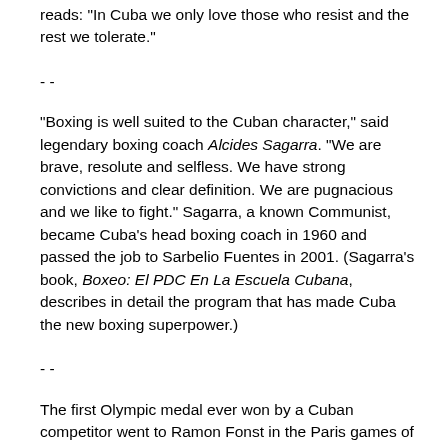reads: "In Cuba we only love those who resist and the rest we tolerate."
- -
"Boxing is well suited to the Cuban character," said legendary boxing coach Alcides Sagarra. "We are brave, resolute and selfless. We have strong convictions and clear definition. We are pugnacious and we like to fight." Sagarra, a known Communist, became Cuba's head boxing coach in 1960 and passed the job to Sarbelio Fuentes in 2001. (Sagarra's book, Boxeo: El PDC En La Escuela Cubana, describes in detail the program that has made Cuba the new boxing superpower.)
- -
The first Olympic medal ever won by a Cuban competitor went to Ramon Fonst in the Paris games of 1900. He took home the gold medal in sword fencing. Cuba didn't have a highly visible presence at the Olympic games or in international competition until the mid 1960s.